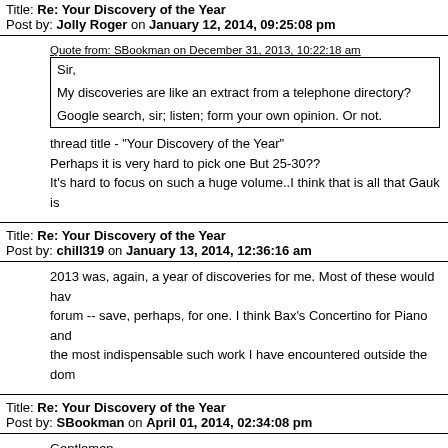Title: Re: Your Discovery of the Year
Post by: Jolly Roger on January 12, 2014, 09:25:08 pm
Quote from: SBookman on December 31, 2013, 10:22:18 am
Sir,

My discoveries are like an extract from a telephone directory?

Google search, sir; listen; form your own opinion. Or not.
thread title - "Your Discovery of the Year"
Perhaps it is very hard to pick one But 25-30??
It's hard to focus on such a huge volume..I think that is all that Gauk is
Title: Re: Your Discovery of the Year
Post by: chill319 on January 13, 2014, 12:36:16 am
2013 was, again, a year of discoveries for me. Most of these would have been discussed at the forum -- save, perhaps, for one. I think Bax's Concertino for Piano and the most indispensable such work I have encountered outside the dom
Title: Re: Your Discovery of the Year
Post by: SBookman on April 01, 2014, 02:34:08 pm
Gentlemen,

Shaverzashvili - 'Mtkvar', Symphonic Picture, 1958
Martinet - 'Le triomphe de la Mort', Symphonie Dramatique, 1967-73
Foulds - Dynamic Triptych, - 1
Alizade - Violin Concerto